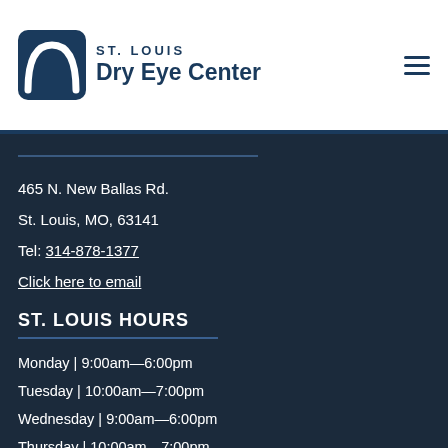[Figure (logo): St. Louis Dry Eye Center logo with arch icon]
465 N. New Ballas Rd.
St. Louis, MO, 63141
Tel: 314-878-1377
Click here to email
ST. LOUIS HOURS
Monday | 9:00am—6:00pm
Tuesday | 10:00am—7:00pm
Wednesday | 9:00am—6:00pm
Thursday | 10:00am—7:00pm